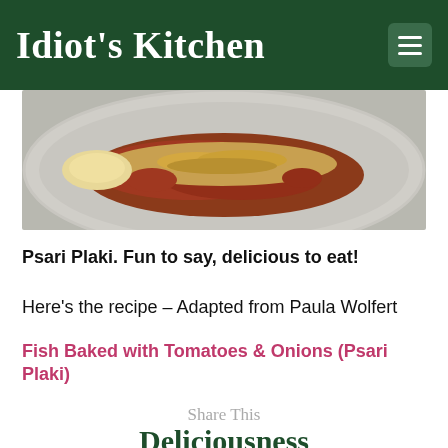Idiot's Kitchen
[Figure (photo): Close-up photo of a baked fish dish with tomato sauce and a crumbled topping served on a white plate]
Psari Plaki. Fun to say, delicious to eat!
Here's the recipe – Adapted from Paula Wolfert
Fish Baked with Tomatoes & Onions (Psari Plaki)
Share This
Deliciousness